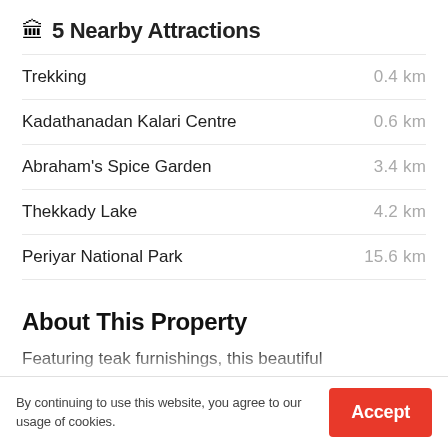🏛 5 Nearby Attractions
Trekking — 0.4 km
Kadathanadan Kalari Centre — 0.6 km
Abraham's Spice Garden — 3.4 km
Thekkady Lake — 4.2 km
Periyar National Park — 15.6 km
About This Property
Featuring teak furnishings, this beautiful
By continuing to use this website, you agree to our usage of cookies.